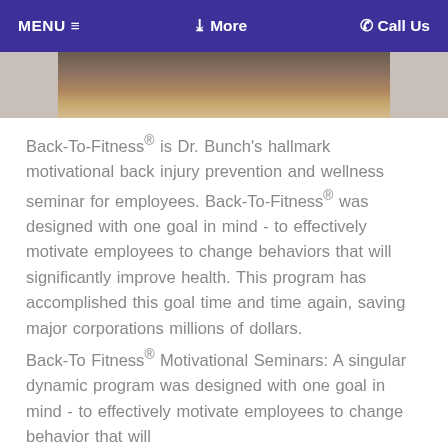MENU ≡    ❯ More    ☎ Call Us
[Figure (photo): Partial photo of people sitting at a table, visible from waist down, with papers on table]
Back-To-Fitness® is Dr. Bunch's hallmark motivational back injury prevention and wellness seminar for employees. Back-To-Fitness® was designed with one goal in mind - to effectively motivate employees to change behaviors that will significantly improve health. This program has accomplished this goal time and time again, saving major corporations millions of dollars.
Back-To Fitness® Motivational Seminars: A singular dynamic program was designed with one goal in mind - to effectively motivate employees to change behavior that will...